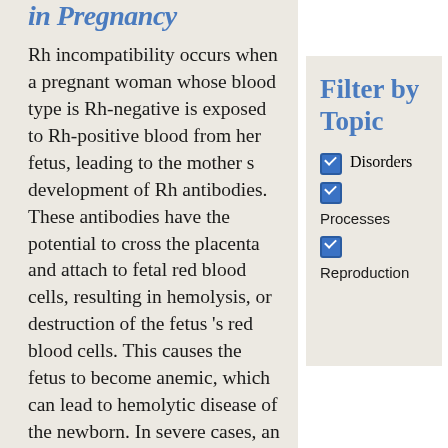in Pregnancy
Rh incompatibility occurs when a pregnant woman whose blood type is Rh-negative is exposed to Rh-positive blood from her fetus, leading to the mother s development of Rh antibodies. These antibodies have the potential to cross the placenta and attach to fetal red blood cells, resulting in hemolysis, or destruction of the fetus 's red blood cells. This causes the fetus to become anemic, which can lead to hemolytic disease of the newborn. In severe cases, an intrauterine blood
Filter by Topic
Disorders
Processes
Reproduction